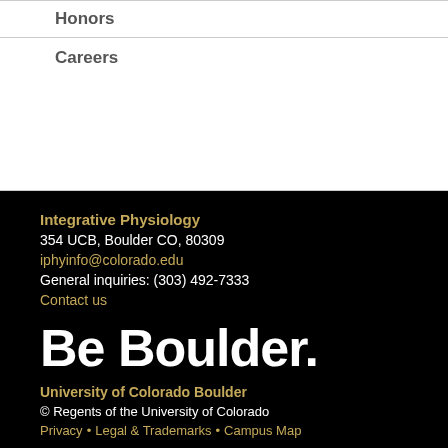Honors
Careers
Integrative Physiology
354 UCB, Boulder CO, 80309
iphyinfo@colorado.edu
General inquiries: (303) 492-7333
Contact us
Be Boulder.
University of Colorado Boulder
© Regents of the University of Colorado
Privacy · Legal & Trademarks · Campus Map